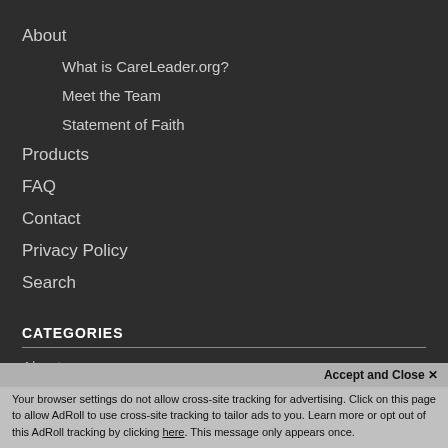About
What is CareLeader.org?
Meet the Team
Statement of Faith
Products
FAQ
Contact
Privacy Policy
Search
CATEGORIES
About
Accept and Close ×
Your browser settings do not allow cross-site tracking for advertising. Click on this page to allow AdRoll to use cross-site tracking to tailor ads to you. Learn more or opt out of this AdRoll tracking by clicking here. This message only appears once.